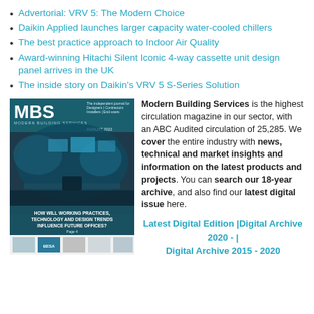Advertorial: VRV 5: The Modern Choice
Daikin Applied launches larger capacity water-cooled chillers
The best practice approach to Indoor Air Quality
Award-winning Hitachi Silent Iconic 4-way cassette unit design panel arrives in the UK
The inside story on Daikin's VRV 5 S-Series Solution
[Figure (photo): Cover of Modern Building Services magazine showing futuristic office interior with text 'HOW WILL WORKING PRACTICES, TECHNOLOGY AND DESIGN TRENDS INFLUENCE FUTURE OFFICES?' and BESA logo at bottom]
Modern Building Services is the highest circulation magazine in our sector, with an ABC Audited circulation of 25,285. We cover the entire industry with news, technical and market insights and information on the latest products and projects. You can search our 18-year archive, and also find our latest digital issue here. Latest Digital Edition | Digital Archive 2020 - | Digital Archive 2015 - 2020